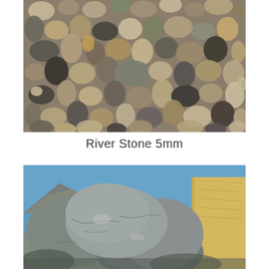[Figure (photo): Close-up photograph of mixed river pebbles/stones of various sizes, colors ranging from grey, brown, tan, dark grey/black, smooth and rounded, densely packed together.]
River Stone 5mm
[Figure (photo): Photograph of large granite/grey rock boulders at a quarry with blue sky and mountain ridgeline visible in the background, and a yellowish rocky cliff face to the right.]